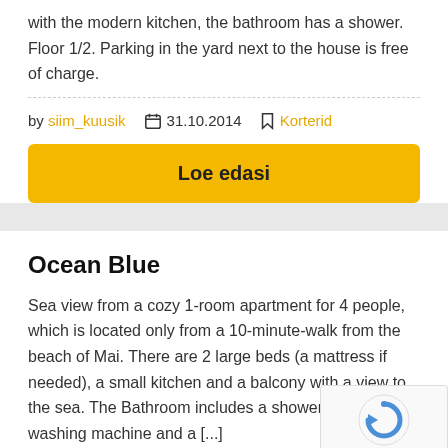with the modern kitchen, the bathroom has a shower. Floor 1/2. Parking in the yard next to the house is free of charge.
by siim_kuusik  31.10.2014  Korterid
Loe edasi
Ocean Blue
Sea view from a cozy 1-room apartment for 4 people, which is located only from a 10-minute-walk from the beach of Mai. There are 2 large beds (a mattress if needed), a small kitchen and a balcony with a view to the sea. The Bathroom includes a shower, a WC, a washing machine and a [...]